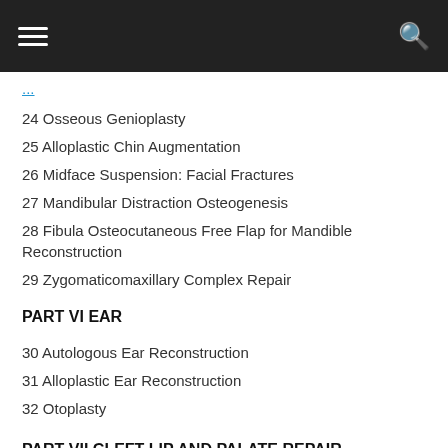Navigation bar with hamburger menu and search icon
24 Osseous Genioplasty
25 Alloplastic Chin Augmentation
26 Midface Suspension: Facial Fractures
27 Mandibular Distraction Osteogenesis
28 Fibula Osteocutaneous Free Flap for Mandible Reconstruction
29 Zygomaticomaxillary Complex Repair
PART VI EAR
30 Autologous Ear Reconstruction
31 Alloplastic Ear Reconstruction
32 Otoplasty
PART VII CLEFT LIP AND PALATE REPAIR